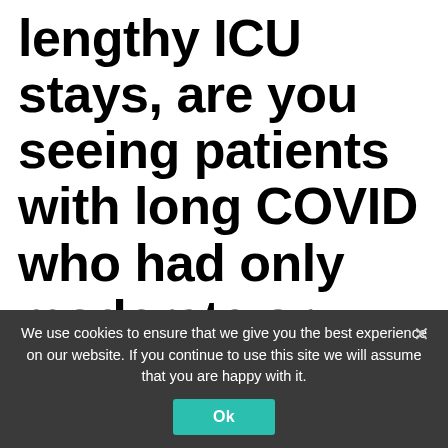lengthy ICU stays, are you seeing patients with long COVID who had only moderate or mild symptoms but need physical rehabilitation?
We use cookies to ensure that we give you the best experience on our website. If you continue to use this site we will assume that you are happy with it.